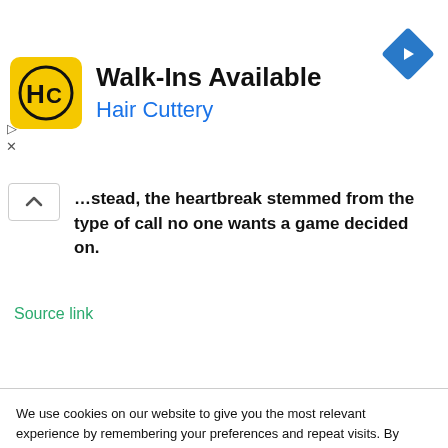[Figure (infographic): Hair Cuttery advertisement banner with yellow square logo showing HC letters, title 'Walk-Ins Available', subtitle 'Hair Cuttery', and a blue diamond navigation icon on the right]
...stead, the heartbreak stemmed from the type of call no one wants a game decided on.
Source link
We use cookies on our website to give you the most relevant experience by remembering your preferences and repeat visits. By clicking “Accept”, you consent to the use of ALL the cookies.
Do not sell my personal information.
Cookie Settings
Accept